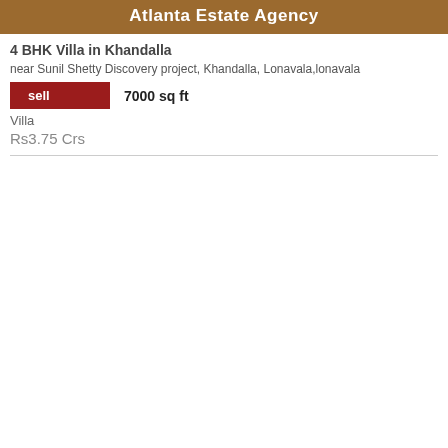Atlanta Estate Agency
4 BHK Villa in Khandalla
near Sunil Shetty Discovery project, Khandalla, Lonavala,lonavala
sell   7000 sq ft
Villa
Rs3.75 Crs